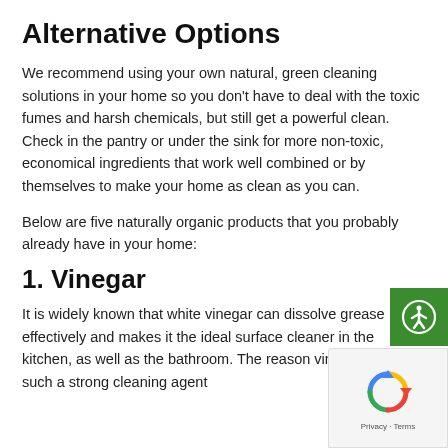Alternative Options
We recommend using your own natural, green cleaning solutions in your home so you don't have to deal with the toxic fumes and harsh chemicals, but still get a powerful clean. Check in the pantry or under the sink for more non-toxic, economical ingredients that work well combined or by themselves to make your home as clean as you can.
Below are five naturally organic products that you probably already have in your home:
1. Vinegar
It is widely known that white vinegar can dissolve grease effectively and makes it the ideal surface cleaner in the kitchen, as well as the bathroom. The reason vinegar is such a strong cleaning agent